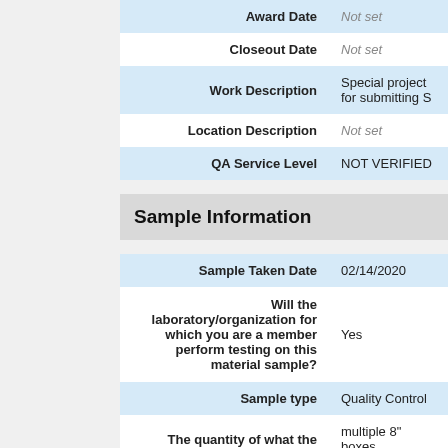| Field | Value |
| --- | --- |
| Award Date | Not set |
| Closeout Date | Not set |
| Work Description | Special project for submitting S |
| Location Description | Not set |
| QA Service Level | NOT VERIFIED |
Sample Information
| Field | Value |
| --- | --- |
| Sample Taken Date | 02/14/2020 |
| Will the laboratory/organization for which you are a member perform testing on this material sample? | Yes |
| Sample type | Quality Control |
| The quantity of what the | multiple 8" boxes |